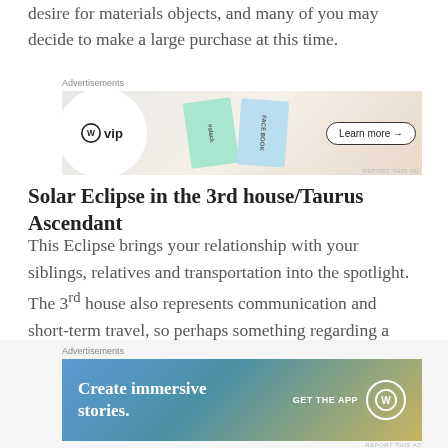desire for materials objects, and many of you may decide to make a large purchase at this time.
[Figure (screenshot): WordPress VIP advertisement banner with WP VIP logo, Slack and Facebook cards, and a Learn more button]
Solar Eclipse in the 3rd house/Taurus Ascendant
This Eclipse brings your relationship with your siblings, relatives and transportation into the spotlight. The 3rd house also represents communication and short-term travel, so perhaps something regarding a writing project or a trip will come to fruition. You may receive a surprising phone call or letter at this time.
[Figure (screenshot): WordPress advertisement banner: Create immersive stories. GET THE APP with WordPress logo]